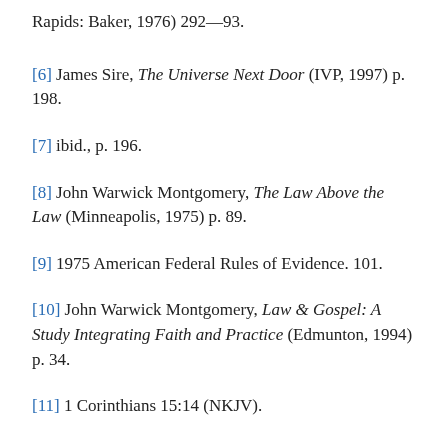Rapids: Baker, 1976) 292—93.
[6] James Sire, The Universe Next Door (IVP, 1997) p. 198.
[7] ibid., p. 196.
[8] John Warwick Montgomery, The Law Above the Law (Minneapolis, 1975) p. 89.
[9] 1975 American Federal Rules of Evidence. 101.
[10] John Warwick Montgomery, Law & Gospel: A Study Integrating Faith and Practice (Edmunton, 1994) p. 34.
[11] 1 Corinthians 15:14 (NKJV).